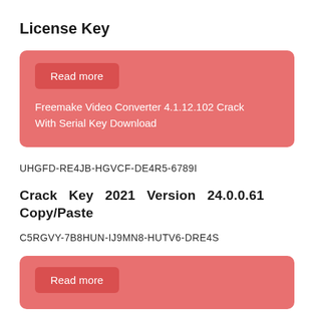License Key
[Figure (other): Red card with 'Read more' button and text: Freemake Video Converter 4.1.12.102 Crack With Serial Key Download]
UHGFD-RE4JB-HGVCF-DE4R5-6789I
Crack Key 2021 Version 24.0.0.61 Copy/Paste
C5RGVY-7B8HUN-IJ9MN8-HUTV6-DRE4S
[Figure (other): Red card with 'Read more' button (partially visible at bottom)]